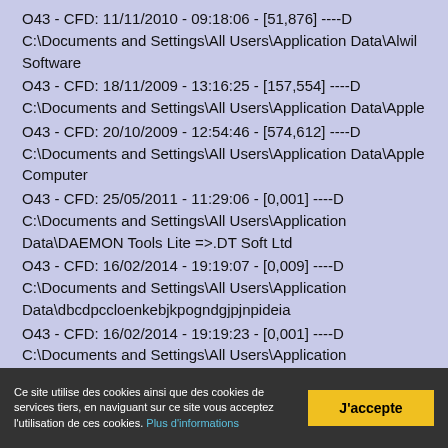O43 - CFD: 11/11/2010 - 09:18:06 - [51,876] ----D C:\Documents and Settings\All Users\Application Data\Alwil Software
O43 - CFD: 18/11/2009 - 13:16:25 - [157,554] ----D C:\Documents and Settings\All Users\Application Data\Apple
O43 - CFD: 20/10/2009 - 12:54:46 - [574,612] ----D C:\Documents and Settings\All Users\Application Data\Apple Computer
O43 - CFD: 25/05/2011 - 11:29:06 - [0,001] ----D C:\Documents and Settings\All Users\Application Data\DAEMON Tools Lite =>.DT Soft Ltd
O43 - CFD: 16/02/2014 - 19:19:07 - [0,009] ----D C:\Documents and Settings\All Users\Application Data\dbcdpccloenkebjkpogndgjpjnpideia
O43 - CFD: 16/02/2014 - 19:19:23 - [0,001] ----D C:\Documents and Settings\All Users\Application Data\ef91f61b46367fb6
O43 - CFD: 16/10/2009 - 18:27:20 - [0,001] ----D C:\Documents and Settings\All Users\Application Data\FLEXnet
O43 - CFD: 23/09/2012 - 12:13:55 - [0,690] ----D C:\Documents
Ce site utilise des cookies ainsi que des cookies de services tiers, en naviguant sur ce site vous acceptez l'utilisation de ces cookies. Plus d'informations